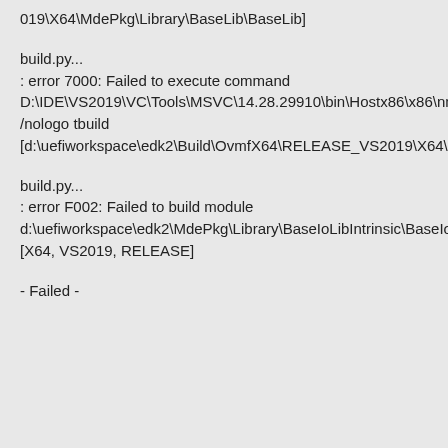019\X64\MdePkg\Library\BaseLib\BaseLib]
build.py...
: error 7000: Failed to execute command D:\IDE\VS2019\VC\Tools\MSVC\14.28.29910\bin\Hostx86\x86\nmake.exe /nologo tbuild [d:\uefiworkspace\edk2\Build\OvmfX64\RELEASE_VS2019\X64\MdePkg\Library\BaseMemoryLibRepStr\BaseMemoryLibRepStr]
build.py...
: error F002: Failed to build module d:\uefiworkspace\edk2\MdePkg\Library\BaseIoLibIntrinsic\BaseIoLibIntrinsicSev.inf [X64, VS2019, RELEASE]
- Failed -